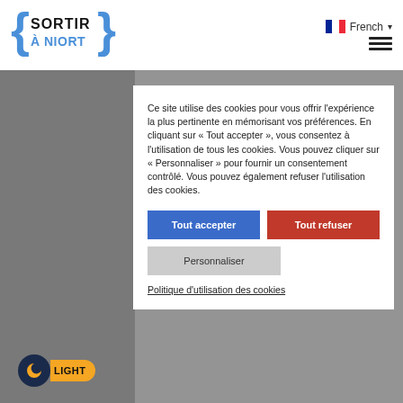[Figure (logo): Sortir à Niort logo with curly braces in blue and black text]
French ▾
Ce site utilise des cookies pour vous offrir l'expérience la plus pertinente en mémorisant vos préférences. En cliquant sur « Tout accepter », vous consentez à l'utilisation de tous les cookies. Vous pouvez cliquer sur « Personnaliser » pour fournir un consentement contrôlé. Vous pouvez également refuser l'utilisation des cookies.
Tout accepter
Tout refuser
Personnaliser
Politique d'utilisation des cookies
LIGHT